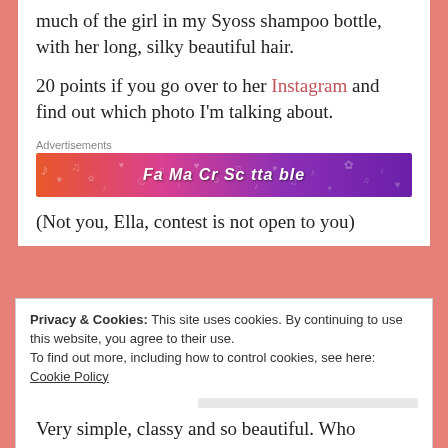much of the girl in my Syoss shampoo bottle, with her long, silky beautiful hair.
20 points if you go over to her Instagram and find out which photo I'm talking about.
[Figure (other): Colorful advertisement banner with gradient from orange to purple with music and decorative icons, partially showing text.]
(Not you, Ella, contest is not open to you)
Privacy & Cookies: This site uses cookies. By continuing to use this website, you agree to their use.
To find out more, including how to control cookies, see here:
Cookie Policy
Close and accept
Very simple, classy and so beautiful. Who